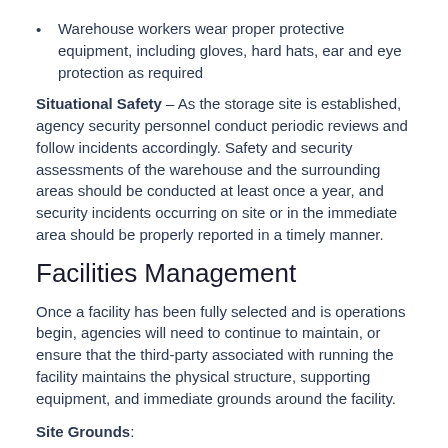Warehouse workers wear proper protective equipment, including gloves, hard hats, ear and eye protection as required
Situational Safety – As the storage site is established, agency security personnel conduct periodic reviews and follow incidents accordingly. Safety and security assessments of the warehouse and the surrounding areas should be conducted at least once a year, and security incidents occurring on site or in the immediate area should be properly reported in a timely manner.
Facilities Management
Once a facility has been fully selected and is operations begin, agencies will need to continue to maintain, or ensure that the third-party associated with running the facility maintains the physical structure, supporting equipment, and immediate grounds around the facility.
Site Grounds:
The grounds around any storage facility should be kept open and free from objects as much as possible; debris, rubble, trash and